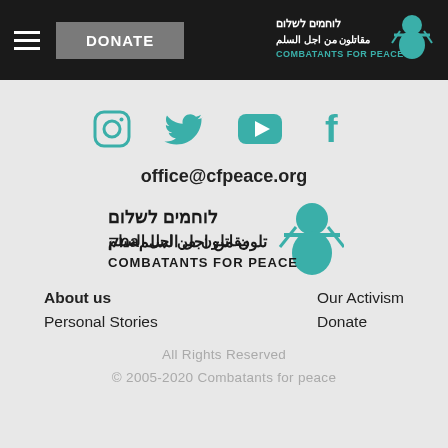DONATE | Combatants for Peace navigation header
[Figure (logo): Combatants for Peace logo with Hebrew, Arabic, and English text, teal figure graphic]
[Figure (infographic): Four social media icons: Instagram, Twitter, YouTube, Facebook in teal color]
office@cfpeace.org
[Figure (logo): Combatants for Peace logo with Hebrew, Arabic, and English text, teal figure graphic - footer version]
About us
Personal Stories
Our Activism
Donate
All Rights Reserved
© 2005-2020 Combatants for peace